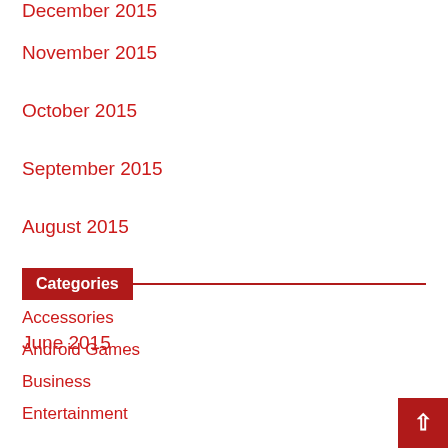December 2015
November 2015
October 2015
September 2015
August 2015
July 2015
June 2015
Categories
Accessories
Android Games
Business
Entertainment